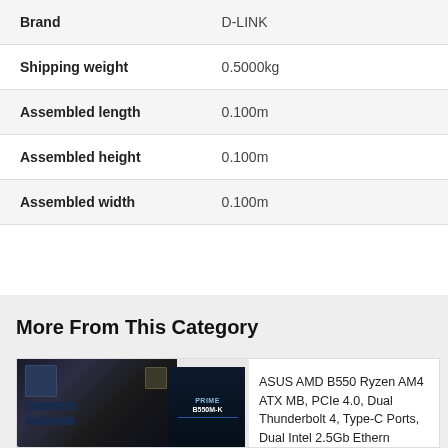| Attribute | Value |
| --- | --- |
| Brand | D-LINK |
| Shipping weight | 0.5000kg |
| Assembled length | 0.100m |
| Assembled height | 0.100m |
| Assembled width | 0.100m |
More From This Category
[Figure (photo): ASUS AMD B550 motherboard with product box (PRIME B550M-K)]
ASUS AMD B550 Ryzen AM4 ATX MB, PCIe 4.0, Dual Thunderbolt 4, Type-C Ports, Dual Intel 2.5Gb Ethern
SKU: MBA-B550-CREATOR
$490.80  $509.00